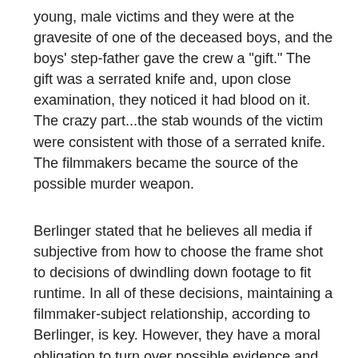young, male victims and they were at the gravesite of one of the deceased boys, and the boys' step-father gave the crew a "gift." The gift was a serrated knife and, upon close examination, they noticed it had blood on it. The crazy part...the stab wounds of the victim were consistent with those of a serrated knife. The filmmakers became the source of the possible murder weapon.
Berlinger stated that he believes all media if subjective from how to choose the frame shot to decisions of dwindling down footage to fit runtime. In all of these decisions, maintaining a filmmaker-subject relationship, according to Berlinger, is key. However, they have a moral obligation to turn over possible evidence and good